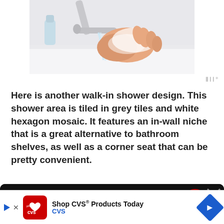[Figure (photo): Person washing soapy hands under a running faucet in a white sink]
Here is another walk-in shower design. This shower area is tiled in grey tiles and white hexagon mosaic. It features an in-wall niche that is a great alternative to bathroom shelves, as well as a corner seat that can be pretty convenient.
[Figure (screenshot): Bottom portion of a dark video player preview with stage lights and a red button]
[Figure (other): CVS Pharmacy advertisement banner: 'Shop CVS® Products Today' with CVS logo and blue navigation arrow icon]